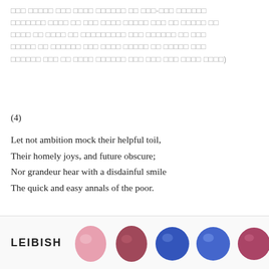obscured Thai/foreign script text (blurred/redacted characters) ending with )
(4)
Let not ambition mock their helpful toil,
Their homely joys, and future obscure;
Nor grandeur hear with a disdainful smile
The quick and easy annals of the poor.
[Word-meanings : ambition = [obscured script] strong desire; mock = [obscured script] to make fun of,
[Figure (photo): LEIBISH gemstone advertisement banner showing pink, dark pink, blue, and another blue and pink oval/round cut gemstones on light background]
LEIBISH